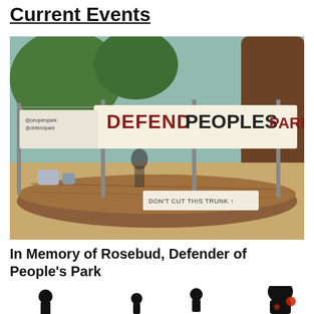Current Events
[Figure (photo): Outdoor protest scene at People's Park with banners reading 'DEFEND PEOPLES PARK' and 'DON'T CUT THIS TRUNK' attached to chain-link fencing, with a large fallen tree trunk in the foreground and tall trees in the background.]
In Memory of Rosebud, Defender of People’s Park
[Figure (illustration): Black silhouette figures of people on a light background, partially visible at bottom of page.]